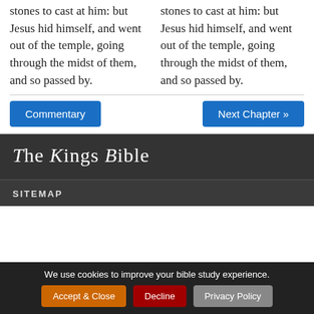stones to cast at him: but Jesus hid himself, and went out of the temple, going through the midst of them, and so passed by.
stones to cast at him: but Jesus hid himself, and went out of the temple, going through the midst of them, and so passed by.
Commentary
Next Chapter »
The Kings Bible
SITEMAP
We use cookies to improve your bible study experience.
Accept & Close
Decline
Privacy Policy